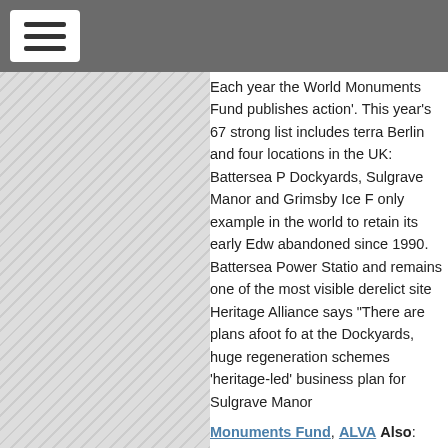[Figure (other): Navigation bar with hamburger menu icon (three horizontal lines) on white button against dark grey background]
Each year the World Monuments Fund publishes action'. This year's 67 strong list includes terra Berlin and four locations in the UK: Battersea P Dockyards, Sulgrave Manor and Grimsby Ice F only example in the world to retain its early Edw abandoned since 1990. Battersea Power Statio and remains one of the most visible derelict site Heritage Alliance says "There are plans afoot fo at the Dockyards, huge regeneration schemes 'heritage-led' business plan for Sulgrave Manor
Monuments Fund, ALVA Also: UNESCO and a memorandum of understanding to allow them a number of fields including heritage and cultur cultural heritage in Egypt, currently under sever the country. Europa
'Save our China' seeks to preserve Riesco already lost